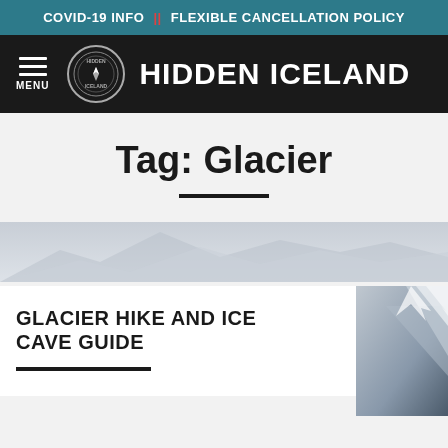COVID-19 INFO || FLEXIBLE CANCELLATION POLICY
[Figure (logo): Hidden Iceland website navigation bar with hamburger menu, circular compass logo, and brand name 'HIDDEN ICELAND' in white on black background]
Tag: Glacier
[Figure (photo): Mountain/glacier landscape photo strip at top of article card]
GLACIER HIKE AND ICE CAVE GUIDE
[Figure (photo): Snowy mountain peak photo on right side of article card]